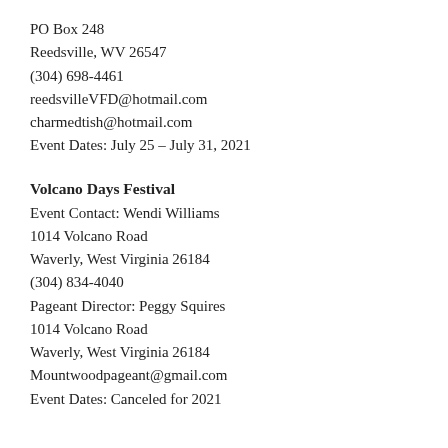PO Box 248
Reedsville, WV 26547
(304) 698-4461
reedsvilleVFD@hotmail.com
charmedtish@hotmail.com
Event Dates: July 25 – July 31, 2021
Volcano Days Festival
Event Contact: Wendi Williams
1014 Volcano Road
Waverly, West Virginia 26184
(304) 834-4040
Pageant Director: Peggy Squires
1014 Volcano Road
Waverly, West Virginia 26184
Mountwoodpageant@gmail.com
Event Dates: Canceled for 2021